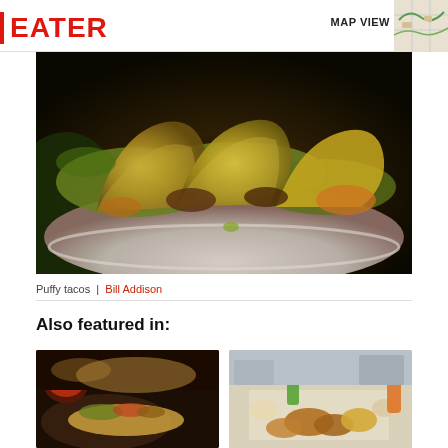EATER  MAP VIEW
[Figure (photo): Close-up of puffy tacos in a white bowl with lettuce, green toppings, and tortilla shells]
Puffy tacos | Bill Addison
Also featured in:
[Figure (photo): Plate of Mexican food with tacos, toppings, and a bowl of salsa]
[Figure (photo): Spread of food items including fried chicken, sides, bottles of soda and juice]